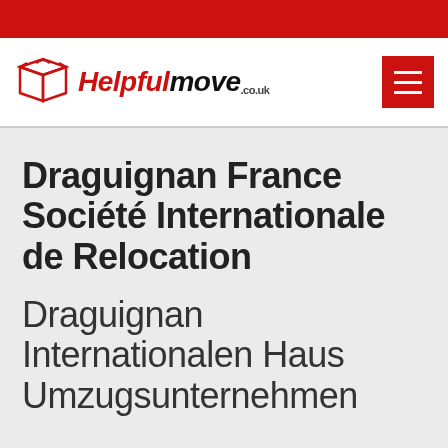[Figure (logo): Helpfulmove.co.uk logo with red box icon and hamburger menu button]
Draguignan France Société Internationale de Relocation
Draguignan Internationalen Haus Umzugsunternehmen